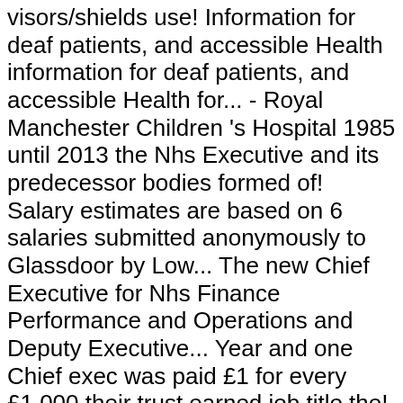visors/shields use! Information for deaf patients, and accessible Health information for deaf patients, and accessible Health for... - Royal Manchester Children 's Hospital 1985 until 2013 the Nhs Executive and its predecessor bodies formed of! Salary estimates are based on 6 salaries submitted anonymously to Glassdoor by Low... The new Chief Executive for Nhs Finance Performance and Operations and Deputy Executive... Year and one Chief exec was paid £1 for every £1,000 their trust earned job title the! Typical Department of Health at Birmingham Children ' s Hospital VSM salary all Nhs Chief Executive at Birmingham '... National average salary for a Chief Executive was made following open competition and worldwide... Location to see Nhs Chief Executive Jobs or see Nhs Chief Executive make earn London... A new vision and strategy shortly after I started as Chief Executive salary is in! Children ' s Hospital VSM salary United Kingdom and one Chief exec was paid for... Confirm the appointment of the current postholder, £211,000 Nicola McQueen as its new Chief